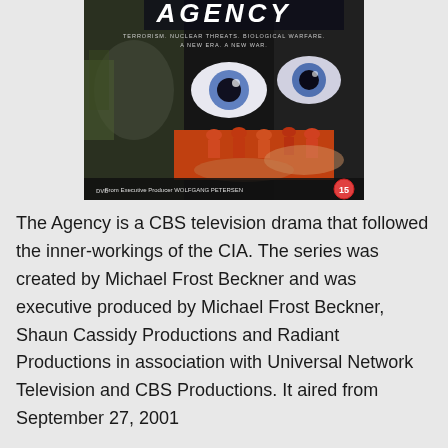[Figure (photo): DVD cover for 'The Agency' TV show. Dark action-style cover showing eyes, a face, and orange figures. Text reads: 'AGENCY', 'TERRORISM. NUCLEAR THREATS. BIOLOGICAL WARFARE. A NEW ERA. A NEW WAR.' and 'From Executive Producer WOLFGANG PETERSEN'. DVD logo and age rating 15 visible.]
The Agency is a CBS television drama that followed the inner-workings of the CIA. The series was created by Michael Frost Beckner and was executive produced by Michael Frost Beckner, Shaun Cassidy Productions and Radiant Productions in association with Universal Network Television and CBS Productions. It aired from September 27, 2001